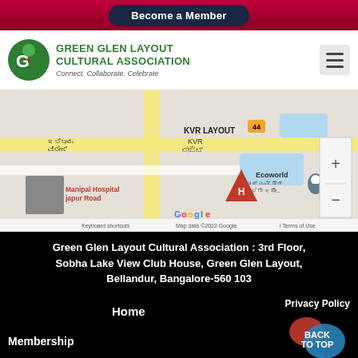Become a Member
GREEN GLEN LAYOUT CULTURAL ASSOCIATION
Connect. Collaborate. Celebrate
[Figure (map): Google Maps screenshot showing the area around Green Glen Layout, Bellandur, Bangalore. Shows KVR Layout, Ecoworld, Manipal Hospital on Banjapur Road with a red location pin marker. Map data ©2022 Google.]
Green Glen Layout Cultural Association : 3rd Floor, Sobha Lake View Club House, Green Glen Layout, Bellandur, Bangalore-560 103
Privacy Policy
BACK TO TOP
Home
Membership
Privacy Policy